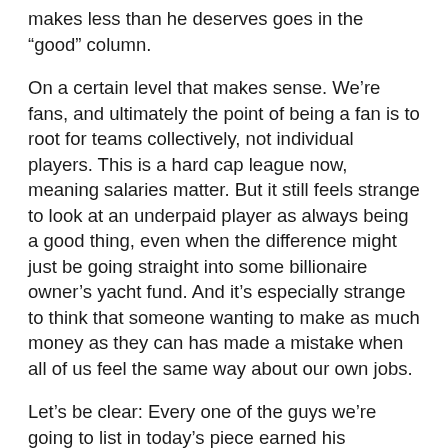makes less than he deserves goes in the “good” column.
On a certain level that makes sense. We’re fans, and ultimately the point of being a fan is to root for teams collectively, not individual players. This is a hard cap league now, meaning salaries matter. But it still feels strange to look at an underpaid player as always being a good thing, even when the difference might just be going straight into some billionaire owner’s yacht fund. And it’s especially strange to think that someone wanting to make as much money as they can has made a mistake when all of us feel the same way about our own jobs.
Let’s be clear: Every one of the guys we’re going to list in today’s piece earned his contract. They’re among the best few hundred hockey players in the world, playing in a league that generates billions in revenue based on people wanting to watch them play. Not one of them held anybody hostage, and each of them ultimately ended up signing an offer that their team put in front of them. If those turned out to be bad contracts, it’s only because their teams screwed up.
We are also going to screw up, although in our case we can